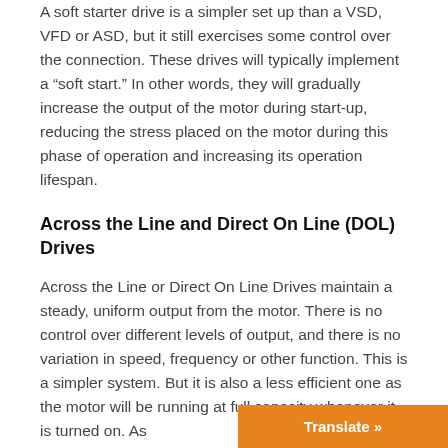A soft starter drive is a simpler set up than a VSD, VFD or ASD, but it still exercises some control over the connection. These drives will typically implement a "soft start." In other words, they will gradually increase the output of the motor during start-up, reducing the stress placed on the motor during this phase of operation and increasing its operation lifespan.
Across the Line and Direct On Line (DOL) Drives
Across the Line or Direct On Line Drives maintain a steady, uniform output from the motor. There is no control over different levels of output, and there is no variation in speed, frequency or other function. This is a simpler system. But it is also a less efficient one as the motor will be running at full capacity whenever it is turned on. As...